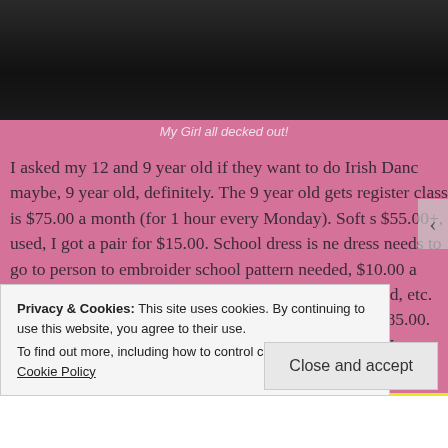[Figure (photo): Dark photo of a girl in Irish dancing costume, cropped at top of page]
My Girl all decked out!
I asked my 12 and 9 year old if they want to do Irish Danc... maybe, 9 year old, definitely. The 9 year old gets register... class is $75.00 a month (for 1 hour every Monday). Soft s... $55.00+, used, I got a pair for $15.00. School dress is ne... dress needs to go to person to embroider school pattern ... needed, $10.00 a pair. We need to travel 3 ½ hours away... gas, Hotel, food, etc. Now she needs hard shoes; $115.0... pair for a steal at $85.00. We need to drive 3 hours away... for 1 hour. Oh, wait. We are going to do the summer class...
Privacy & Cookies: This site uses cookies. By continuing to use this website, you agree to their use. To find out more, including how to control cookies, see here: Cookie Policy
Close and accept